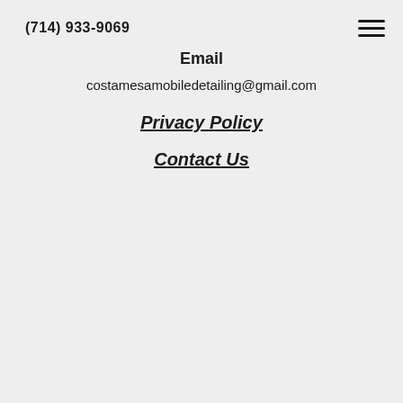(714) 933-9069
Email
costamesamobiledetailing@gmail.com
Privacy Policy
Contact Us